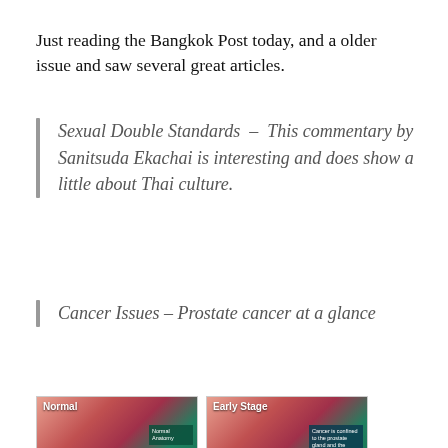Just reading the Bangkok Post today, and a older issue and saw several great articles.
Sexual Double Standards – This commentary by Sanitsuda Ekachai is interesting and does show a little about Thai culture.
Cancer Issues – Prostate cancer at a glance
[Figure (photo): Medical illustration of prostate anatomy labeled 'Normal' with anatomical cross-section diagram in pink/teal colors, with a text box on the right side.]
[Figure (photo): Medical illustration of prostate anatomy labeled 'Early Stage' with anatomical cross-section diagram in pink/teal colors, with a text box on the right side describing cancer confined to the prostate gland.]